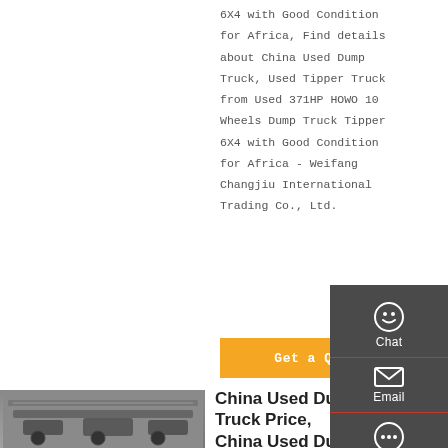6X4 with Good Condition for Africa, Find details about China Used Dump Truck, Used Tipper Truck from Used 371HP HOWO 10 Wheels Dump Truck Tipper 6X4 with Good Condition for Africa - Weifang Changjiu International Trading Co., Ltd.
Get a Quote
[Figure (screenshot): Sidebar widget with Chat, Email, Contact, Top icons on dark gray background]
[Figure (photo): Underside/chassis of a used dump truck]
China Used Dump Truck Price, China Used Dump